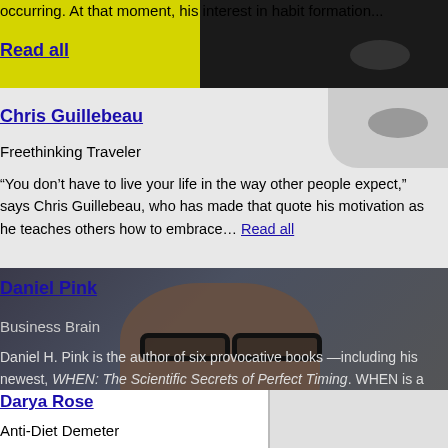occurring. At that moment, his interest in habit formation...
Read all
Chris Guillebeau
Freethinking Traveler
“You don’t have to live your life in the way other people expect,” says Chris Guillebeau, who has made that quote his motivation as he teaches others how to embrace... Read all
Daniel Pink
Business Brain
Daniel H. Pink is the author of six provocative books —including his newest, WHEN: The Scientific Secrets of Perfect Timing. WHEN is a New York Times, Wall Street Journal,... Read all
Darya Rose
Anti-Diet Demeter